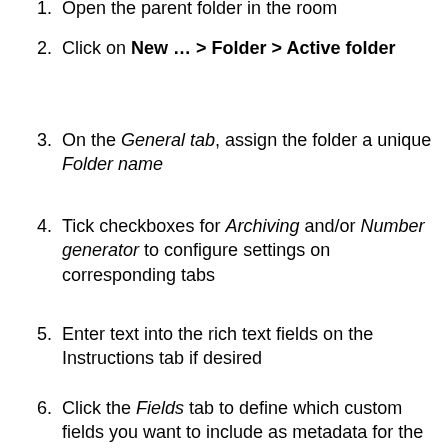1. Open the parent folder in the room
2. Click on New … > Folder > Active folder
3. On the General tab, assign the folder a unique Folder name
4. Tick checkboxes for Archiving and/or Number generator to configure settings on corresponding tabs
5. Enter text into the rich text fields on the Instructions tab if desired
6. Click the Fields tab to define which custom fields you want to include as metadata for the entries